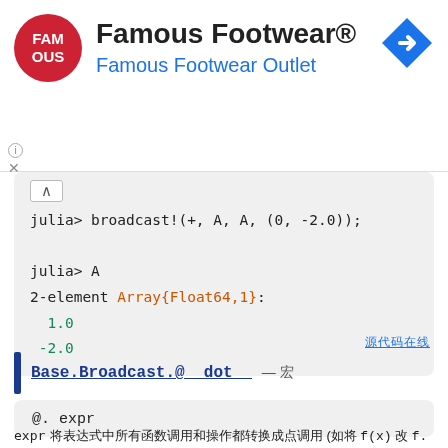[Figure (other): Famous Footwear advertisement banner with red circular logo, company name, and a blue navigation arrow icon]
julia> broadcast!(+, A, A, (0, -2.0));

julia> A
2-element Array{Float64,1}:
  1.0
 -2.0
Base.Broadcast.@__dot__ — 宏
@. expr
expr 将表达式中所有函数调用和操作都转换成点调用 (如将 f(x) 改 f.(x) 的) 中所有